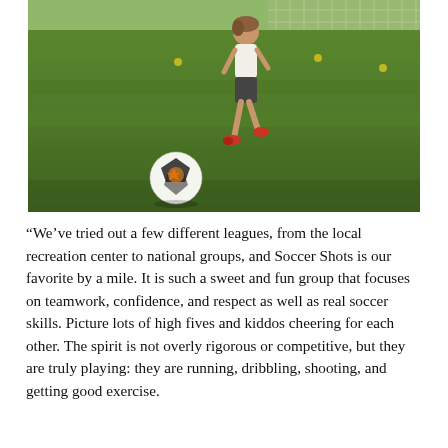[Figure (photo): A young child in a white sleeveless shirt and dark shorts running on a green grass soccer field toward a soccer ball. The field has a chain-link fence visible in the background. The photo has a slightly warm, outdoor sunlit look.]
“We’ve tried out a few different leagues, from the local recreation center to national groups, and Soccer Shots is our favorite by a mile. It is such a sweet and fun group that focuses on teamwork, confidence, and respect as well as real soccer skills. Picture lots of high fives and kiddos cheering for each other. The spirit is not overly rigorous or competitive, but they are truly playing: they are running, dribbling, shooting, and getting good exercise.